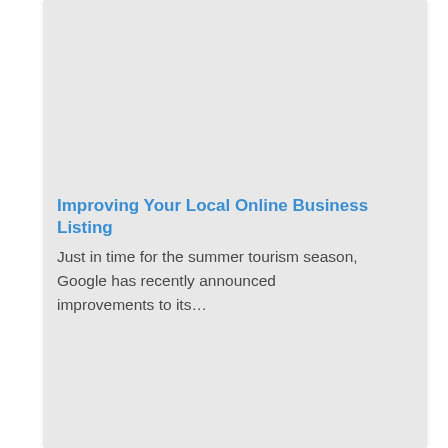Improving Your Local Online Business Listing
Just in time for the summer tourism season, Google has recently announced improvements to its…